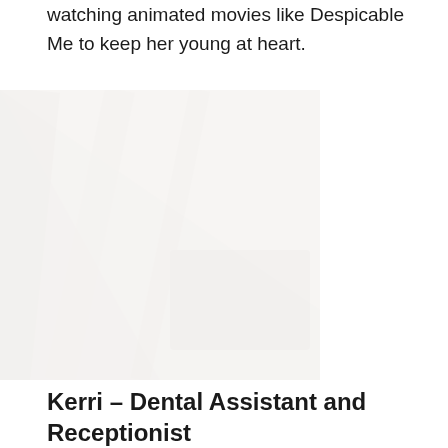watching animated movies like Despicable Me to keep her young at heart.
[Figure (photo): A faint/watermarked photo of a person, very light and washed out, serving as a background image in a dental practice profile page.]
Kerri – Dental Assistant and Receptionist